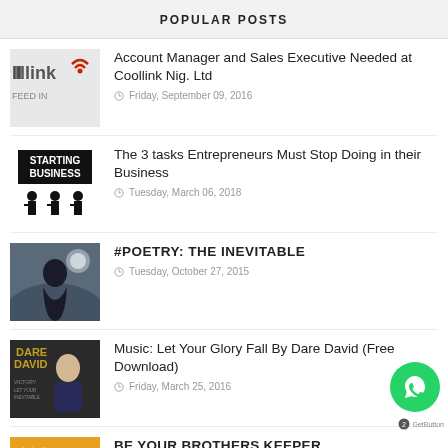POPULAR POSTS
Account Manager and Sales Executive Needed at Coollink Nig. Ltd
Friday, September 09, 2016
The 3 tasks Entrepreneurs Must Stop Doing in their Business
Tuesday, March 06, 2018
#POETRY: THE INEVITABLE
Tuesday, October 27, 2015
Music: Let Your Glory Fall By Dare David (Free Download)
Friday, March 25, 2016
BE YOUR BROTHERS KEEPER
Tuesday, April 24, 2018